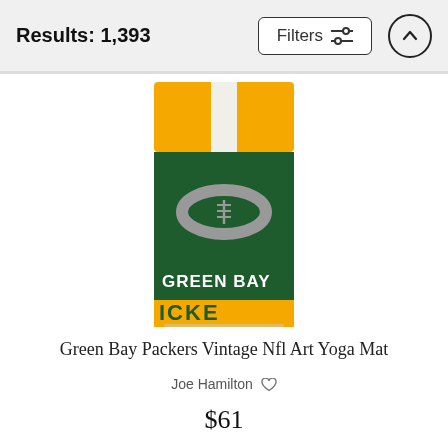Results: 1,393
[Figure (screenshot): Green Bay Packers Vintage NFL Art Yoga Mat product image — a tall rectangular yoga mat with green and gold Packers colors, white center stripe, a football graphic, and text GREEN BAY PACKERS]
Green Bay Packers Vintage Nfl Art Yoga Mat
Joe Hamilton ♡
$61